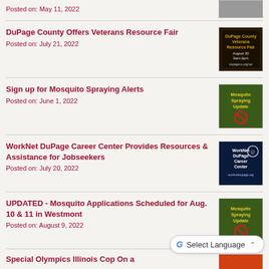Posted on: May 11, 2022
DuPage County Offers Veterans Resource Fair
Posted on: July 21, 2022
[Figure (photo): DuPage County Veterans Resource Fair thumbnail image]
Sign up for Mosquito Spraying Alerts
Posted on: June 1, 2022
[Figure (photo): Mosquito Spraying Alerts thumbnail image]
WorkNet DuPage Career Center Provides Resources & Assistance for Jobseekers
Posted on: July 20, 2022
[Figure (photo): WorkNet DuPage Career Center thumbnail image]
UPDATED - Mosquito Applications Scheduled for Aug. 10 & 11 in Westmont
Posted on: August 9, 2022
[Figure (photo): Mosquito Applications thumbnail image]
Special Olympics Illinois Cop On a
[Figure (photo): Special Olympics thumbnail image]